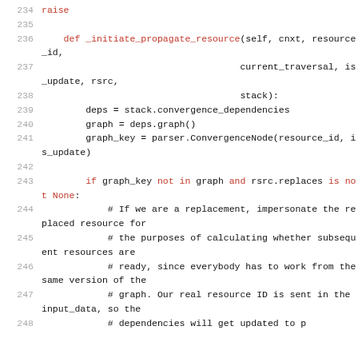[Figure (screenshot): Python source code lines 234-248 showing a method _initiate_propagate_resource with syntax highlighting (keywords in red, rest in black), using monospace font on white background.]